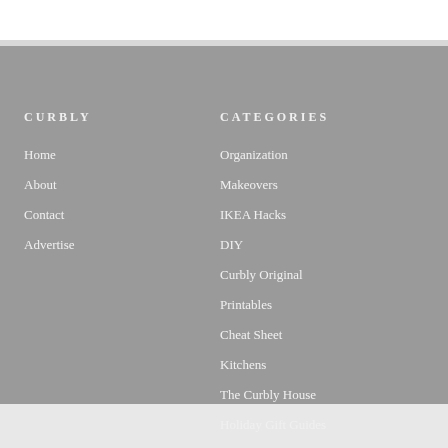CURBLY
Home
About
Contact
Advertise
CATEGORIES
Organization
Makeovers
IKEA Hacks
DIY
Curbly Original
Printables
Cheat Sheet
Kitchens
The Curbly House
Holiday Gift Guides
Videos